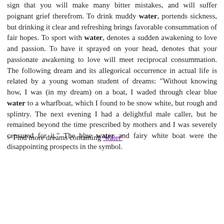sign that you will make many bitter mistakes, and will suffer poignant grief therefrom. To drink muddy water, portends sickness, but drinking it clear and refreshing brings favorable consummation of fair hopes. To sport with water, denotes a sudden awakening to love and passion. To have it sprayed on your head, denotes that your passionate awakening to love will meet reciprocal consummation. The following dream and its allegorical occurrence in actual life is related by a young woman student of dreams: "Without knowing how, I was (in my dream) on a boat, I waded through clear blue water to a wharfboat, which I found to be snow white, but rough and splintry. The next evening I had a delightful male caller, but he remained beyond the time prescribed by mothers and I was severely censured for it." The blue water and fairy white boat were the disappointing prospects in the symbol.
> Find more dreams containing 'water'